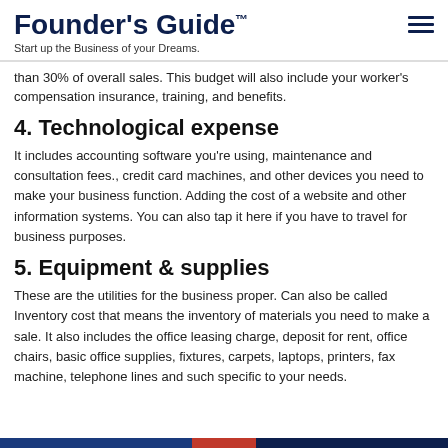Founder's Guide™
Start up the Business of your Dreams.
than 30% of overall sales. This budget will also include your worker's compensation insurance, training, and benefits.
4. Technological expense
It includes accounting software you're using, maintenance and consultation fees., credit card machines, and other devices you need to make your business function. Adding the cost of a website and other information systems. You can also tap it here if you have to travel for business purposes.
5. Equipment & supplies
These are the utilities for the business proper. Can also be called Inventory cost that means the inventory of materials you need to make a sale. It also includes the office leasing charge, deposit for rent, office chairs, basic office supplies, fixtures, carpets, laptops, printers, fax machine, telephone lines and such specific to your needs.